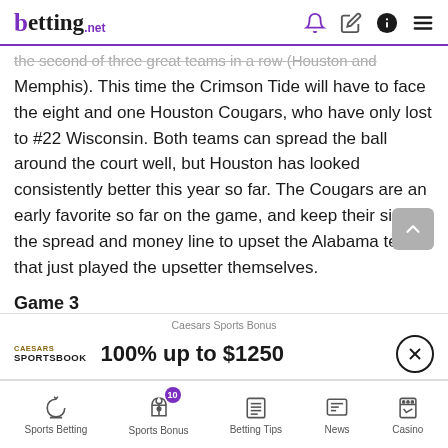betting.net
the second of three great teams in a row (Houston and Memphis). This time the Crimson Tide will have to face the eight and one Houston Cougars, who have only lost to #22 Wisconsin. Both teams can spread the ball around the court well, but Houston has looked consistently better this year so far. The Cougars are an early favorite so far on the game, and keep their side of the spread and money line to upset the Alabama team that just played the upsetter themselves.
Game 3
Thursday, December 9th
Caesars Sports Bonus
100% up to $1250
Sports Betting | Sports Bonus (10) | Betting Tips | News | Casino